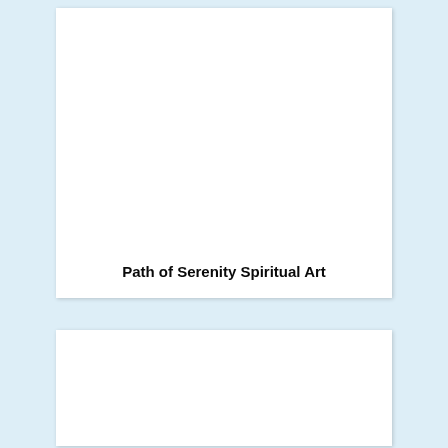Path of Serenity Spiritual Art
[Figure (other): White card/panel area, mostly blank, bottom portion cropped]